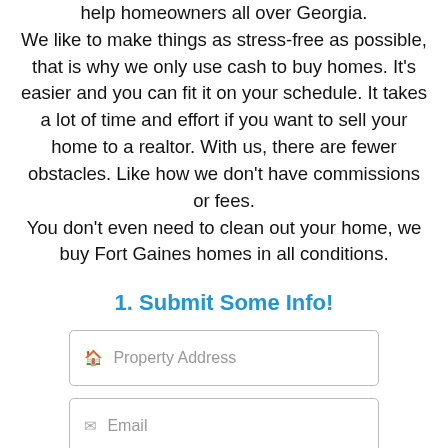help homeowners all over Georgia. We like to make things as stress-free as possible, that is why we only use cash to buy homes. It's easier and you can fit it on your schedule. It takes a lot of time and effort if you want to sell your home to a realtor. With us, there are fewer obstacles. Like how we don't have commissions or fees. You don't even need to clean out your home, we buy Fort Gaines homes in all conditions.
1. Submit Some Info!
🏠 Property Address
✉ Email